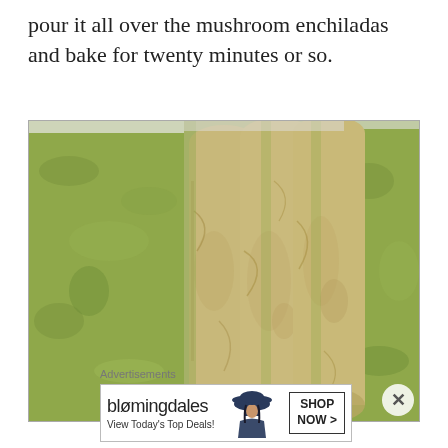pour it all over the mushroom enchiladas and bake for twenty minutes or so.
[Figure (photo): Overhead close-up photograph of rolled mushroom enchiladas in a white baking dish, covered with green sauce (salsa verde). Four tortilla rolls are visible, surrounded by the textured green sauce.]
Advertisements
[Figure (other): Bloomingdale's advertisement banner showing logo, 'View Today's Top Deals!', a woman in a wide-brim hat, and a 'SHOP NOW >' call-to-action button.]